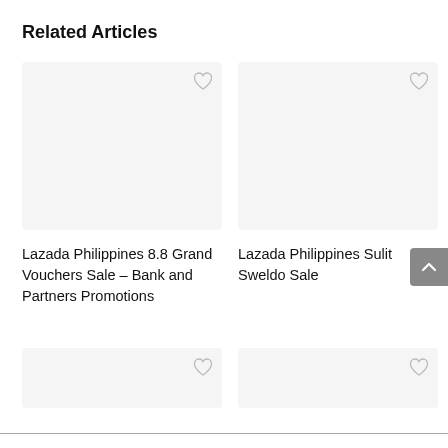Related Articles
[Figure (illustration): Article card image placeholder (light gray rectangle) for Lazada Philippines 8.8 Grand Vouchers Sale article with heart/favorite icon]
Lazada Philippines 8.8 Grand Vouchers Sale – Bank and Partners Promotions
[Figure (illustration): Article card image placeholder (light gray rectangle) for Lazada Philippines Sulit Sweldo Sale article with heart/favorite icon]
Lazada Philippines Sulit Sweldo Sale
[Figure (illustration): Partial article card image placeholder (light gray rectangle) with heart/favorite icon — second row left]
[Figure (illustration): Partial article card image placeholder (light gray rectangle) with heart/favorite icon — second row right]